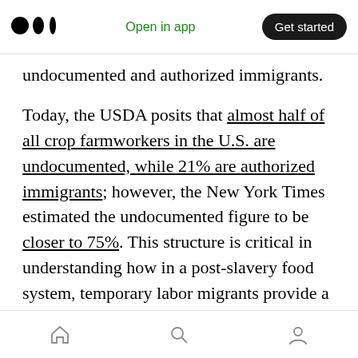Medium app bar — Open in app | Get started
undocumented and authorized immigrants.
Today, the USDA posits that almost half of all crop farmworkers in the U.S. are undocumented, while 21% are authorized immigrants; however, the New York Times estimated the undocumented figure to be closer to 75%. This structure is critical in understanding how in a post-slavery food system, temporary labor migrants provide a method for securing cheap labor to meet demands. Migrant work programs bind migrant workers' right to be in this country
Home | Search | Profile navigation icons